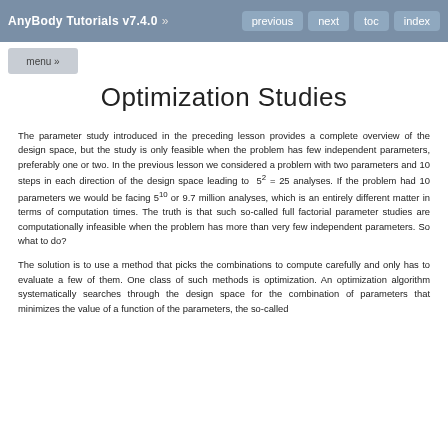AnyBody Tutorials v7.4.0 » previous next toc index
Optimization Studies
The parameter study introduced in the preceding lesson provides a complete overview of the design space, but the study is only feasible when the problem has few independent parameters, preferably one or two. In the previous lesson we considered a problem with two parameters and 10 steps in each direction of the design space leading to 5² = 25 analyses. If the problem had 10 parameters we would be facing 5¹⁰ or 9.7 million analyses, which is an entirely different matter in terms of computation times. The truth is that such so-called full factorial parameter studies are computationally infeasible when the problem has more than very few independent parameters. So what to do?
The solution is to use a method that picks the combinations to compute carefully and only has to evaluate a few of them. One class of such methods is optimization. An optimization algorithm systematically searches through the design space for the combination of parameters that minimizes the value of a function of the parameters, the so-called